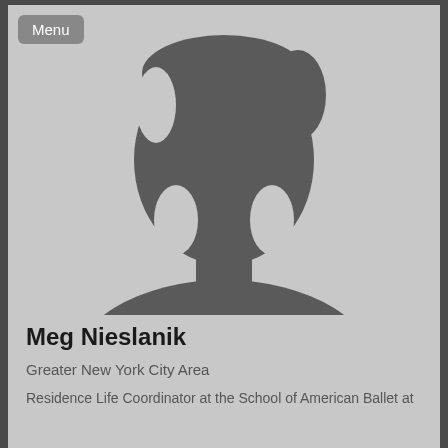[Figure (photo): Default silhouette profile photo placeholder — grey background with a dark grey generic person silhouette (head and shoulders)]
Meg Nieslanik
Greater New York City Area
Residence Life Coordinator at the School of American Ballet at